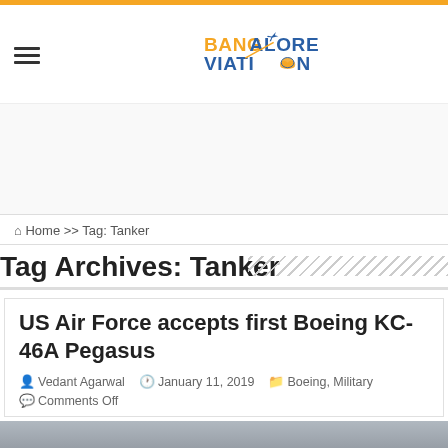[Figure (logo): Bangalore Aviation logo with airplane icon, orange and blue text]
Home >> Tag: Tanker
Tag Archives: Tanker
US Air Force accepts first Boeing KC-46A Pegasus
Vedant Agarwal   January 11, 2019   Boeing, Military   Comments Off